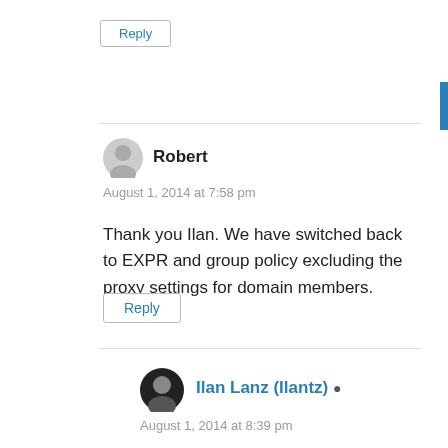Reply
Robert
August 1, 2014 at 7:58 pm
Thank you Ilan. We have switched back to EXPR and group policy excluding the proxy settings for domain members.
Reply
Ilan Lanz (Ilantz)
August 1, 2014 at 8:39 pm